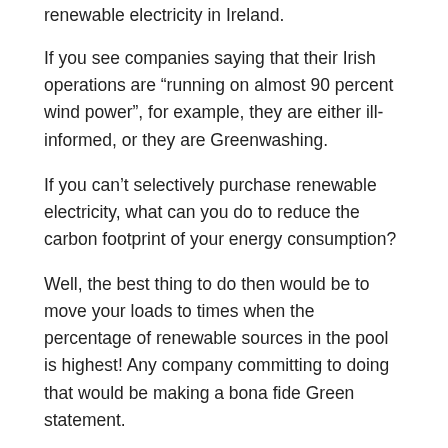renewable electricity in Ireland.
If you see companies saying that their Irish operations are “running on almost 90 percent wind power”, for example, they are either ill-informed, or they are Greenwashing.
If you can’t selectively purchase renewable electricity, what can you do to reduce the carbon footprint of your energy consumption?
Well, the best thing to do then would be to move your loads to times when the percentage of renewable sources in the pool is highest! Any company committing to doing that would be making a bona fide Green statement.
Filed Under: renewables Tagged With: electricity, greenwashing, ireland, renewables.com, single electricity market, wind, ...